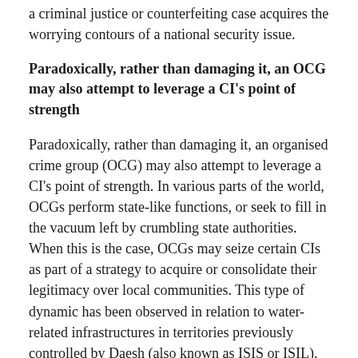a criminal justice or counterfeiting case acquires the worrying contours of a national security issue.
Paradoxically, rather than damaging it, an OCG may also attempt to leverage a CI's point of strength
Paradoxically, rather than damaging it, an organised crime group (OCG) may also attempt to leverage a CI's point of strength. In various parts of the world, OCGs perform state-like functions, or seek to fill in the vacuum left by crumbling state authorities. When this is the case, OCGs may seize certain CIs as part of a strategy to acquire or consolidate their legitimacy over local communities. This type of dynamic has been observed in relation to water-related infrastructures in territories previously controlled by Daesh (also known as ISIS or ISIL). In Iraq, water dams have been exploited by Daesh not just to flood areas of land and disrupt enemies' military operations, but also to supply water to areas sympathetic to Daesh's cause. According to Stratfor, by seeming to do a better job of providing necessary services,